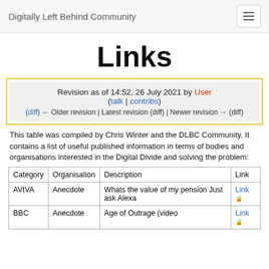Digitally Left Behind Community
Links
Revision as of 14:52, 26 July 2021 by User (talk | contribs)
(diff) ← Older revision | Latest revision (diff) | Newer revision → (diff)
This table was compiled by Chris Winter and the DLBC Community. It contains a list of useful published information in terms of bodies and organisations interested in the Digital Divide and solving the problem:
| Category | Organisation | Description | Link |
| --- | --- | --- | --- |
| AVIVA | Anecdote | Whats the value of my pension Just ask Alexa | Link 🔒 |
| BBC | Anecdote | Age of Outrage (video | Link 🔒 |